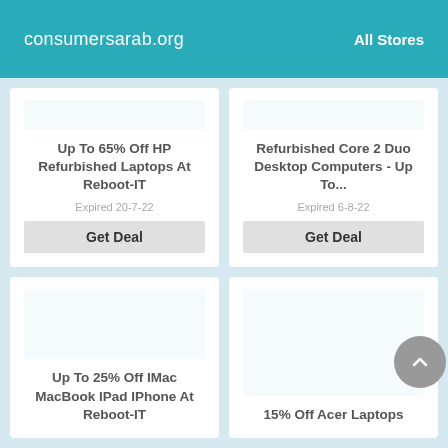consumersarab.org   All Stores
Up To 65% Off HP Refurbished Laptops At Reboot-IT
Expired 20-7-22
Get Deal
Refurbished Core 2 Duo Desktop Computers - Up To...
Expired 6-8-22
Get Deal
Up To 25% Off IMac MacBook IPad IPhone At Reboot-IT
15% Off Acer Laptops